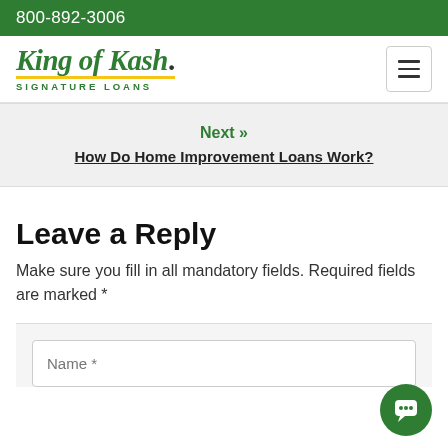800-892-3006
[Figure (logo): King of Kash Signature Loans logo with green text and yellow underline, plus hamburger menu button]
Next » How Do Home Improvement Loans Work?
Leave a Reply
Make sure you fill in all mandatory fields. Required fields are marked *
Name *